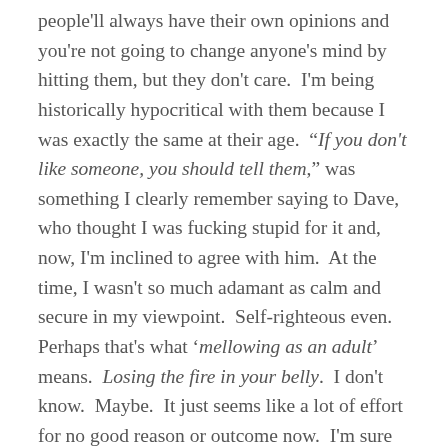people'll always have their own opinions and you're not going to change anyone's mind by hitting them, but they don't care.  I'm being historically hypocritical with them because I was exactly the same at their age.  "If you don't like someone, you should tell them," was something I clearly remember saying to Dave, who thought I was fucking stupid for it and, now, I'm inclined to agree with him.  At the time, I wasn't so much adamant as calm and secure in my viewpoint.  Self-righteous even.  Perhaps that's what 'mellowing as an adult' means.  Losing the fire in your belly.  I don't know.  Maybe.  It just seems like a lot of effort for no good reason or outcome now.  I'm sure the sixteen year old Middlerabbit would sneer at what he'd become but he can fuck off.  And he wouldn't care either because I'd have become a phoney.